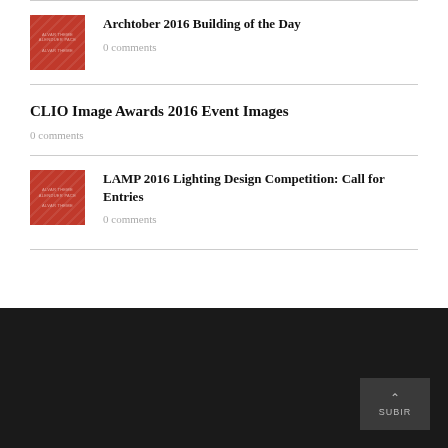[Figure (photo): Red thumbnail image placeholder for Archtober 2016 Building of the Day]
Archtober 2016 Building of the Day
0 comments
CLIO Image Awards 2016 Event Images
0 comments
[Figure (photo): Red thumbnail image placeholder for LAMP 2016 Lighting Design Competition]
LAMP 2016 Lighting Design Competition: Call for Entries
0 comments
SUBIR